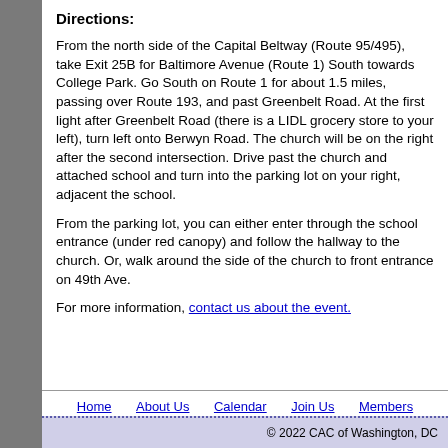Directions:
From the north side of the Capital Beltway (Route 95/495), take Exit 25B for Baltimore Avenue (Route 1) South towards College Park. Go South on Route 1 for about 1.5 miles, passing over Route 193, and past Greenbelt Road. At the first light after Greenbelt Road (there is a LIDL grocery store to your left), turn left onto Berwyn Road. The church will be on the right after the second intersection. Drive past the church and attached school and turn into the parking lot on your right, adjacent the school.
From the parking lot, you can either enter through the school entrance (under red canopy) and follow the hallway to the church. Or, walk around the side of the church to front entrance on 49th Ave.
For more information, contact us about the event.
Home   About Us   Calendar   Join Us   Members
© 2022 CAC of Washington, DC